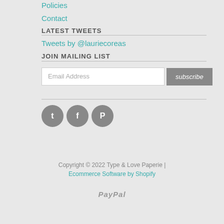Policies
Contact
LATEST TWEETS
Tweets by @lauriecoreas
JOIN MAILING LIST
Email Address [subscribe]
[Figure (illustration): Three social media icon circles: Twitter (T), Facebook (f), Pinterest (P) in gray]
Copyright © 2022 Type & Love Paperie | Ecommerce Software by Shopify
[Figure (logo): PayPal logo in gray italic text]